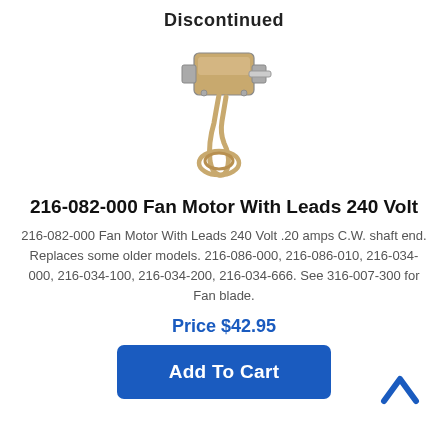Discontinued
[Figure (photo): Photo of a fan motor with wire leads coiled at the bottom]
216-082-000 Fan Motor With Leads 240 Volt
216-082-000 Fan Motor With Leads 240 Volt .20 amps C.W. shaft end. Replaces some older models. 216-086-000, 216-086-010, 216-034-000, 216-034-100, 216-034-200, 216-034-666. See 316-007-300 for Fan blade.
Price $42.95